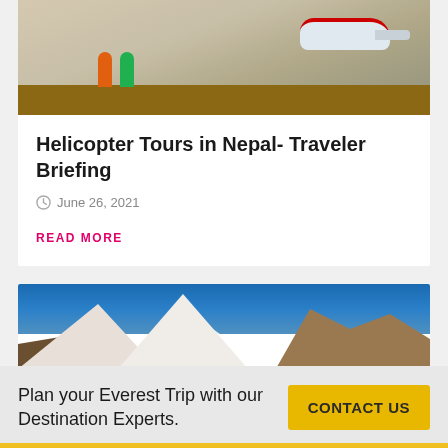[Figure (photo): People with bicycles near a helicopter on barren mountain terrain]
Helicopter Tours in Nepal- Traveler Briefing
June 26, 2021
READ MORE
[Figure (photo): Snow-capped mountain peaks with blue sky, Himalayan range]
Plan your Everest Trip with our Destination Experts.
CONTACT US